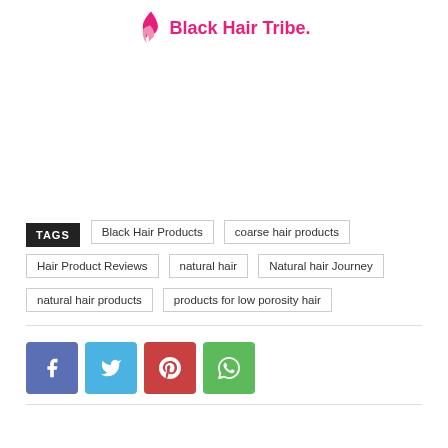[Figure (logo): Black Hair Tribe logo with flame icon and pink text]
TAGS: Black Hair Products | coarse hair products | Hair Product Reviews | natural hair | Natural hair Journey | natural hair products | products for low porosity hair
[Figure (infographic): Social share buttons: Facebook (blue), Twitter (light blue), Pinterest (red), WhatsApp (green)]